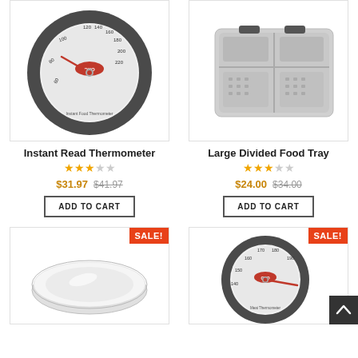[Figure (photo): OXO Instant Read Thermometer with circular gray rubber body and white dial face showing temperature scale 0-220°F with red needle]
Instant Read Thermometer
★★★☆☆
$31.97  $41.97
ADD TO CART
[Figure (photo): Large Divided Food Tray - stainless steel rectangular tray with multiple compartments and perforated sections]
Large Divided Food Tray
★★★☆☆
$24.00  $34.00
ADD TO CART
[Figure (photo): Glass or stainless steel circular tray/plate with SALE badge]
[Figure (photo): OXO Meat Thermometer with circular gray rubber body showing temperature scale 140-190°F range with red needle, with SALE badge]